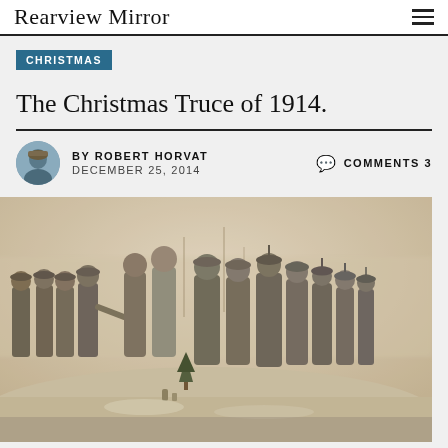Rearview Mirror
CHRISTMAS
The Christmas Truce of 1914.
BY ROBERT HORVAT   COMMENTS 3   DECEMBER 25, 2014
[Figure (photo): Historical illustration showing soldiers from both sides meeting in No Man's Land during the Christmas Truce of 1914, with a small Christmas tree in the snow between them.]